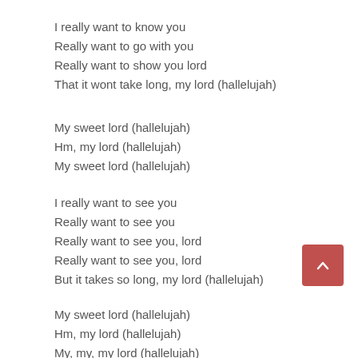I really want to know you
Really want to go with you
Really want to show you lord
That it wont take long, my lord (hallelujah)
My sweet lord (hallelujah)
Hm, my lord (hallelujah)
My sweet lord (hallelujah)
I really want to see you
Really want to see you
Really want to see you, lord
Really want to see you, lord
But it takes so long, my lord (hallelujah)
My sweet lord (hallelujah)
Hm, my lord (hallelujah)
My, my, my lord (hallelujah)
I really want to know you (hallelujah)
Really want to go with you (hallelujah)
Really want to show you lord (aaah)